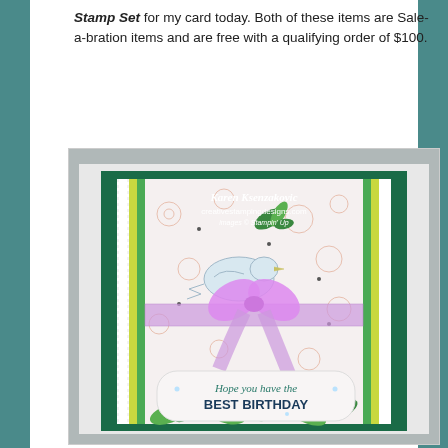Stamp Set for my card today. Both of these items are Sale-a-bration items and are free with a qualifying order of $100.
[Figure (photo): A handmade birthday card by Karen Ksenzakovic from creativestampingdesigns.com. The card features a dark green cardstock base with white and green striped layers and a floral/bird patterned paper center. A purple ribbon bow is tied around the middle of the card. At the bottom is a curved sentiment strip reading 'Hope you have the BEST BIRTHDAY' in teal/dark ink with small rhinestone embellishments.]